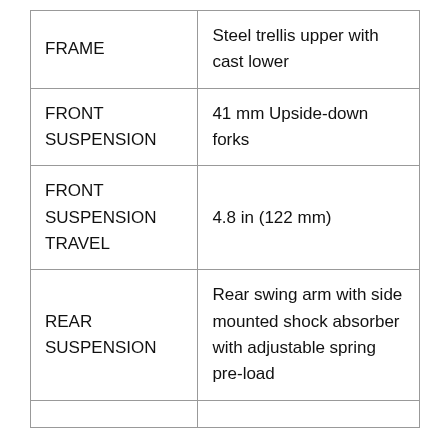| FRAME | Steel trellis upper with cast lower |
| FRONT SUSPENSION | 41 mm Upside-down forks |
| FRONT SUSPENSION TRAVEL | 4.8 in (122 mm) |
| REAR SUSPENSION | Rear swing arm with side mounted shock absorber with adjustable spring pre-load |
|  |  |